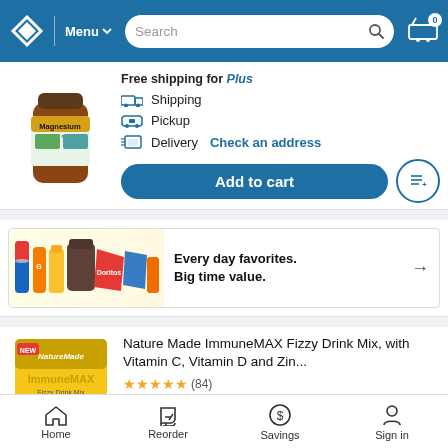Menu | Search | Cart (0)
[Figure (photo): Magnesium 400mg supplement bottle (brown/amber glass bottle with green and teal label)]
Free shipping for Plus
Shipping
Pickup
Delivery  Check an address
Add to cart
[Figure (photo): Advertisement banner: 'Every day favorites. Big time value.' with images of Gatorade, Pepsi, Doritos, and other grocery products]
Nature Made ImmuneMAX Fizzy Drink Mix, with Vitamin C, Vitamin D and Zin...
★★★★★ (84)
Home  Reorder  Savings  Sign in